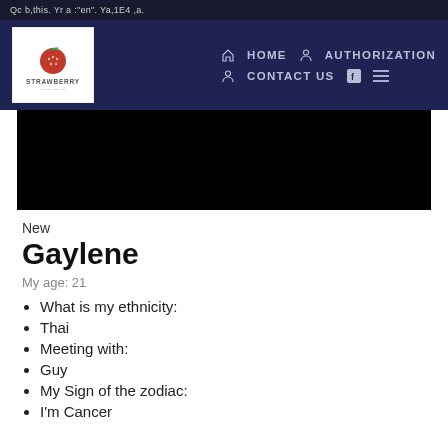Qc b,this. Yr a :"en". Ya,1E4 ,a.
[Figure (screenshot): Navigation bar with Strawberry logo on left and HOME, AUTHORIZATION, CONTACT US, and menu icons on right]
[Figure (photo): Black hero image area]
New
Gaylene
My age: 21
What is my ethnicity:
Thai
Meeting with:
Guy
My Sign of the zodiac:
I'm Cancer